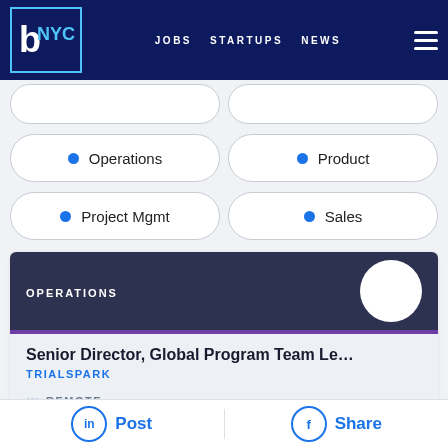b NYC  JOBS  STARTUPS  NEWS
Operations
Product
Project Mgmt
Sales
OPERATIONS
Senior Director, Global Program Team Lead...
TRIALSPARK
REMOTE
GREATER NYC AREA
PROJECT MANAGEMENT
Senior Project Manager, CMC Project...
Post  Share